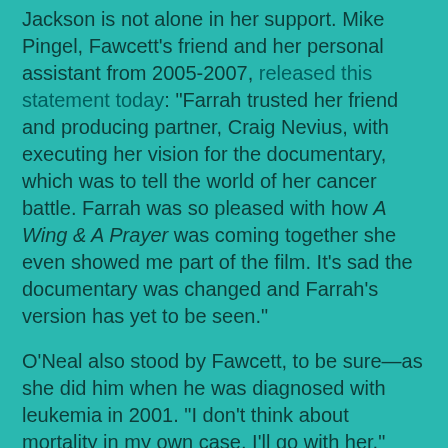Jackson is not alone in her support. Mike Pingel, Fawcett's friend and her personal assistant from 2005-2007, released this statement today: "Farrah trusted her friend and producing partner, Craig Nevius, with executing her vision for the documentary, which was to tell the world of her cancer battle. Farrah was so pleased with how A Wing & A Prayer was coming together she even showed me part of the film. It's sad the documentary was changed and Farrah's version has yet to be seen."
O'Neal also stood by Fawcett, to be sure—as she did him when he was diagnosed with leukemia in 2001. "I don't think about mortality in my own case. I'll go with her," O'Neal told USA Today last May. "They said this drug I was on was good for five (years), and I've gone eight, so I'm on borrowed time. But I know someone will be waiting for me."
But would Fawcett want her longtime love to spend his final years angry, aloof, embattled and unable to set a good example—however late—for his children? That's doubtful. She was far from perfect, but this TV star radiated light and offered fellow cancer warriors a beacon of hope, even when